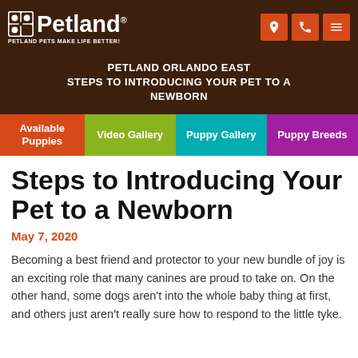Petland — PETLAND PETS MAKE LIFE BETTER!
PETLAND ORLANDO EAST
STEPS TO INTRODUCING YOUR PET TO A NEWBORN
Available Puppies | Video Gallery | Puppy Gallery | Puppy Breeds
Steps to Introducing Your Pet to a Newborn
May 7, 2020
Becoming a best friend and protector to your new bundle of joy is an exciting role that many canines are proud to take on. On the other hand, some dogs aren't into the whole baby thing at first, and others just aren't really sure how to respond to the little tyke.